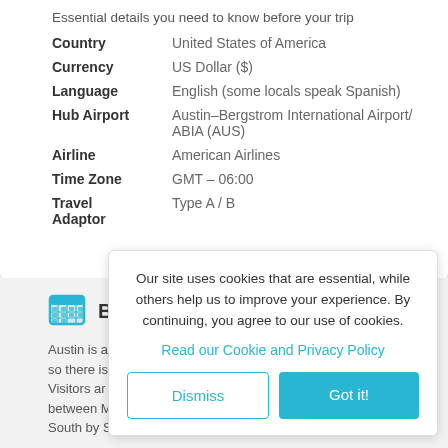Essential details you need to know before your trip
| Country | United States of America |
| Currency | US Dollar ($) |
| Language | English (some locals speak Spanish) |
| Hub Airport | Austin–Bergstrom International Airport/ ABIA (AUS) |
| Airline | American Airlines |
| Time Zone | GMT – 06:00 |
| Travel Adaptor | Type A / B |
Best time to visit
Austin is a year-round destination, so there is no bad time to visit. Visitors are encouraged to travel between M... South by Southwest music festival takes place, along
Our site uses cookies that are essential, while others help us to improve your experience. By continuing, you agree to our use of cookies.

Read our Cookie and Privacy Policy

[Dismiss] [Got it!]